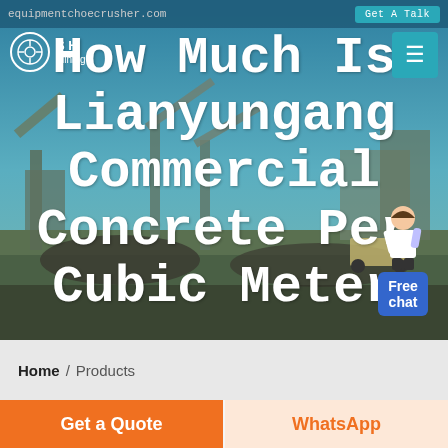equipmentchoecrusher.com   Get A Talk
How Much Is Lianyungang Commercial Concrete Per Cubic Meter
[Figure (screenshot): Mining/crushing plant equipment site background photo with conveyor belts and industrial machinery]
Free chat
Home / Products
Get a Quote
WhatsApp